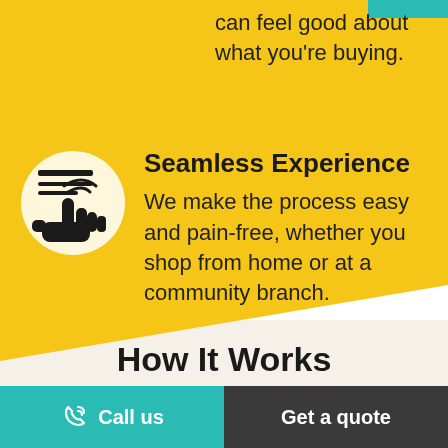can feel good about what you're buying.
Seamless Experience
[Figure (illustration): Icon of a hand touching/clicking a document or screen inside a circular frame]
We make the process easy and pain-free, whether you shop from home or at a community branch.
How It Works
Call us | Get a quote